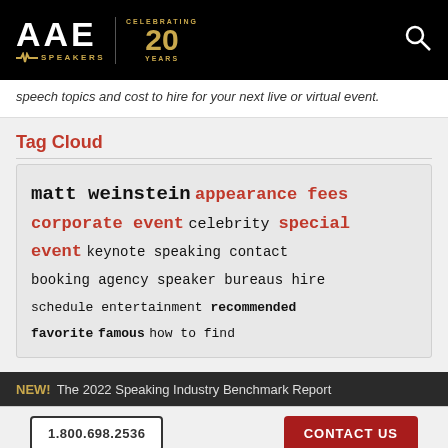[Figure (logo): AAE Speakers logo with 'Celebrating 20 Years' badge on black background, with search icon]
speech topics and cost to hire for your next live or virtual event.
Tag Cloud
matt weinstein appearance fees corporate event celebrity special event keynote speaking contact booking agency speaker bureaus hire schedule entertainment recommended favorite famous how to find
NEW! The 2022 Speaking Industry Benchmark Report
1.800.698.2536
CONTACT US